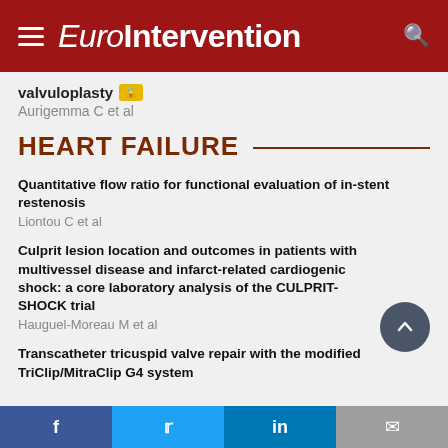EuroIntervention
valvuloplasty
Aurigemma C et al
HEART FAILURE
Quantitative flow ratio for functional evaluation of in-stent restenosis
Liontou C et al
Culprit lesion location and outcomes in patients with multivessel disease and infarct-related cardiogenic shock: a core laboratory analysis of the CULPRIT-SHOCK trial
Hauguel-Moreau M et al
Transcatheter tricuspid valve repair with the modified TriClip/MitraClip G4 system